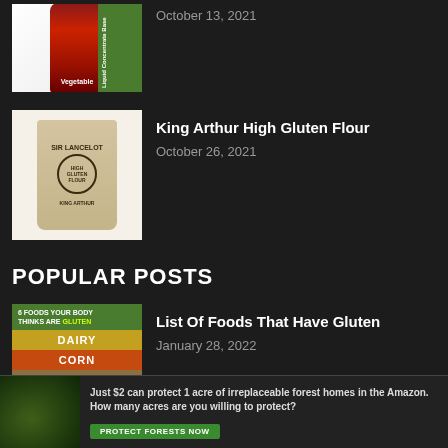[Figure (photo): Knorr Vegetable Liquid Concentrate Base bottle]
October 13, 2021
[Figure (photo): King Arthur Sir Lancelot High Gluten Flour bag]
King Arthur High Gluten Flour
October 26, 2021
POPULAR POSTS
[Figure (infographic): 6 Foods your body thinks are gluten - showing DAIRY, CORN, MILLET]
List Of Foods That Have Gluten
January 28, 2022
[Figure (photo): Gluten Free Croutons Whole Foods product image]
Gluten Free Croutons Whole Foods
Just $2 can protect 1 acre of irreplaceable forest homes in the Amazon. How many acres are you willing to protect?
PROTECT FORESTS NOW